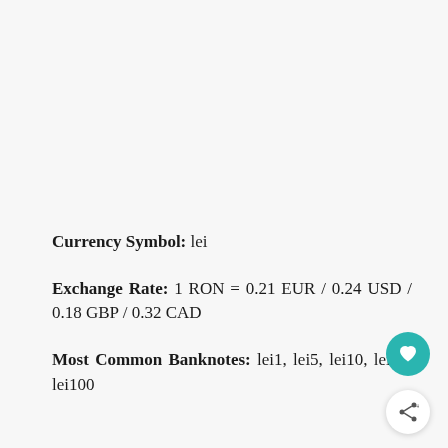Currency Symbol: lei
Exchange Rate: 1 RON = 0.21 EUR / 0.24 USD / 0.18 GBP / 0.32 CAD
Most Common Banknotes: lei1, lei5, lei10, lei50, lei100